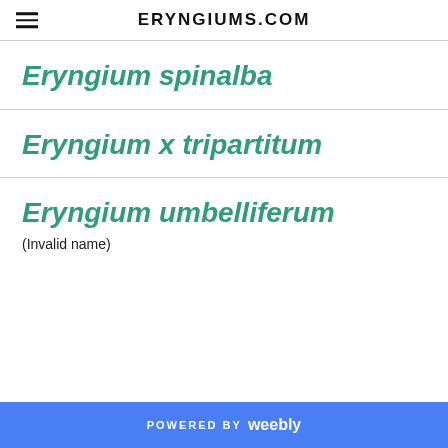ERYNGIUMS.COM
Eryngium spinalba
Eryngium x tripartitum
Eryngium umbelliferum
(Invalid name)
POWERED BY weebly